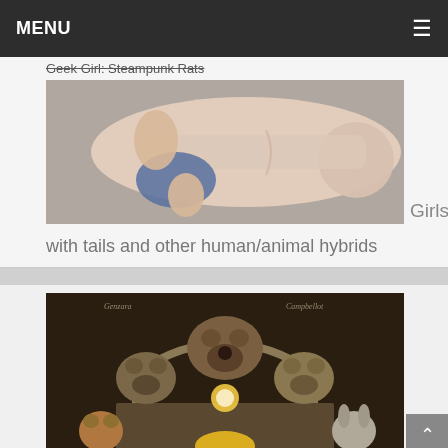MENU
Geek Girl: Steampunk Rats
[Figure (photo): Photo of a person lying face down, shirtless, viewed from above]
Girls with tails and other human/animal hybrids
[Figure (illustration): Fantasy illustration showing anthropomorphic animals including a bear, wolves, squirrel, rabbit, and a blonde figure, framed by an arch, with artist signatures at top]